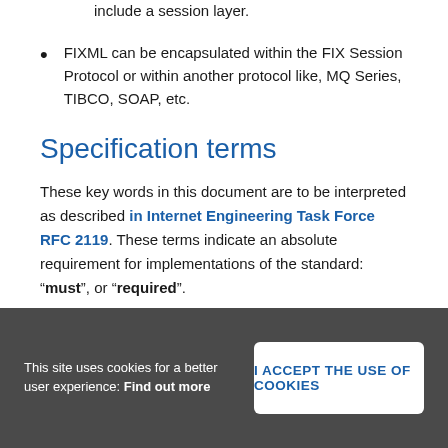FIXML includes FIX application messages and does not include a session layer.
FIXML can be encapsulated within the FIX Session Protocol or within another protocol like, MQ Series, TIBCO, SOAP, etc.
Specification terms
These key words in this document are to be interpreted as described in Internet Engineering Task Force RFC 2119. These terms indicate an absolute requirement for implementations of the standard: “must”, or “required”.
This site uses cookies for a better user experience: Find out more
I ACCEPT THE USE OF COOKIES